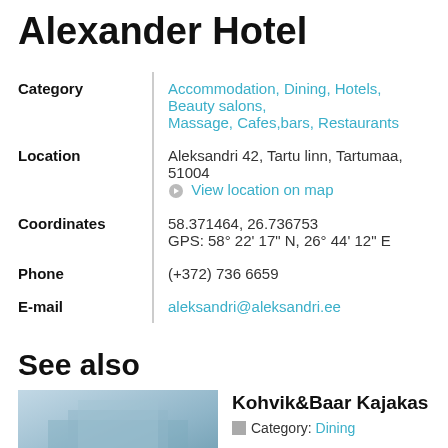Alexander Hotel
| Field |  | Value |
| --- | --- | --- |
| Category |  | Accommodation, Dining, Hotels, Beauty salons, Massage, Cafes,bars, Restaurants |
| Location |  | Aleksandri 42, Tartu linn, Tartumaa, 51004
View location on map |
| Coordinates |  | 58.371464, 26.736753
GPS: 58° 22' 17" N, 26° 44' 12" E |
| Phone |  | (+372) 736 6659 |
| E-mail |  | aleksandri@aleksandri.ee |
See also
[Figure (photo): Photo of a building with blue/grey facade for Kohvik&Baar Kajakas listing]
Kohvik&Baar Kajakas
Category: Dining